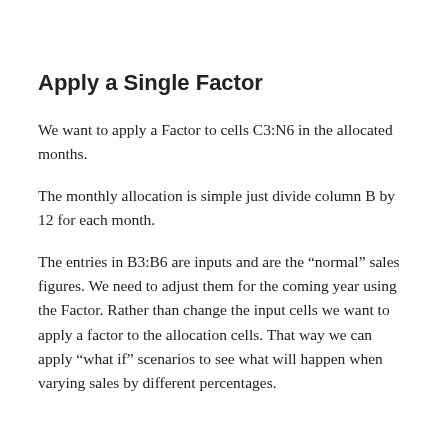Apply a Single Factor
We want to apply a Factor to cells C3:N6 in the allocated months.
The monthly allocation is simple just divide column B by 12 for each month.
The entries in B3:B6 are inputs and are the “normal” sales figures. We need to adjust them for the coming year using the Factor. Rather than change the input cells we want to apply a factor to the allocation cells. That way we can apply “what if” scenarios to see what will happen when varying sales by different percentages.